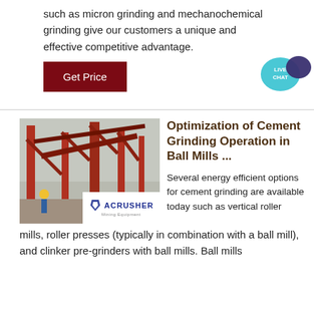such as micron grinding and mechanochemical grinding give our customers a unique and effective competitive advantage.
[Figure (other): Dark red 'Get Price' button and a 'Live Chat' bubble icon in dark purple]
[Figure (photo): Photo of industrial mining/crushing equipment with red steel structures and a worker in yellow hard hat, with ACRUSHER Mining Equipment logo overlay]
Optimization of Cement Grinding Operation in Ball Mills ...
Several energy efficient options for cement grinding are available today such as vertical roller mills, roller presses (typically in combination with a ball mill), and clinker pre-grinders with ball mills. Ball mills